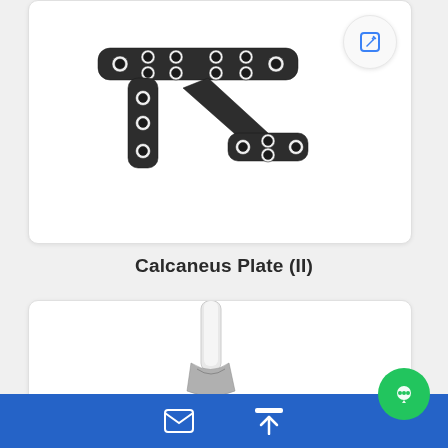[Figure (photo): A dark/black titanium Calcaneus Plate (II) orthopedic implant with multiple screw holes, angular shape with proximal and distal fixation wings.]
Calcaneus Plate (II)
[Figure (photo): Partial view of a metallic surgical instrument (appears to be scissors or forceps) with white/chrome finish, partially obscured by the bottom toolbar.]